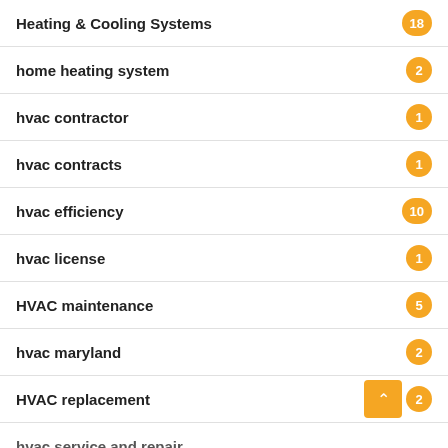Heating & Cooling Systems
home heating system
hvac contractor
hvac contracts
hvac efficiency
hvac license
HVAC maintenance
hvac maryland
HVAC replacement
hvac service and repair